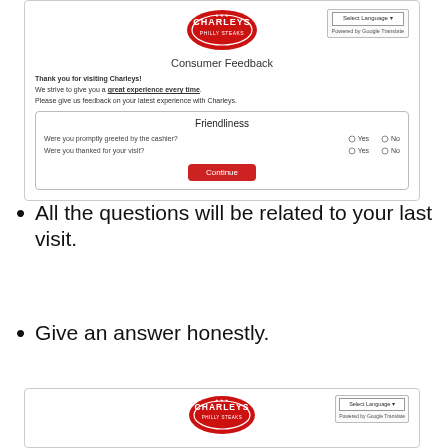[Figure (screenshot): Charleys Philly Steaks Consumer Feedback website screenshot showing logo, Select Language button, intro text, Friendliness survey section with Yes/No radio buttons for two questions, and a Continue button.]
All the questions will be related to your last visit.
Give an answer honestly.
[Figure (screenshot): Partial bottom screenshot of Charleys Consumer Feedback page showing logo and Select Language button.]